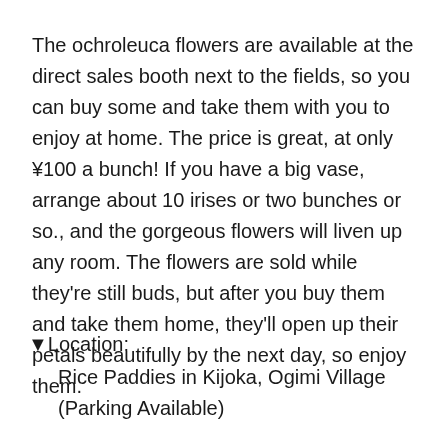The ochroleuca flowers are available at the direct sales booth next to the fields, so you can buy some and take them with you to enjoy at home. The price is great, at only ¥100 a bunch! If you have a big vase, arrange about 10 irises or two bunches or so., and the gorgeous flowers will liven up any room. The flowers are sold while they're still buds, but after you buy them and take them home, they'll open up their petals beautifully by the next day, so enjoy them.
▼Location:
Rice Paddies in Kijoka, Ogimi Village
(Parking Available)